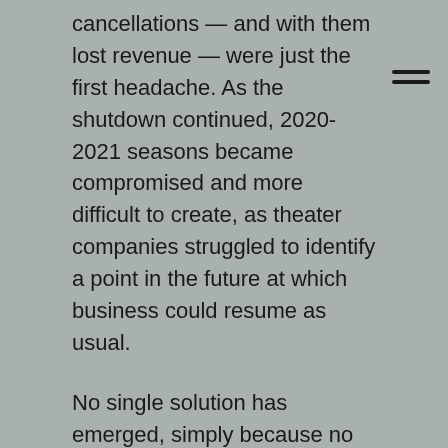cancellations — and with them lost revenue — were just the first headache. As the shutdown continued, 2020-2021 seasons became compromised and more difficult to create, as theater companies struggled to identify a point in the future at which business could resume as usual.
No single solution has emerged, simply because no date exists for a return to normalcy. But by looking way back — the Catastrophic to wagons in the age of Shakespeare and Rec Room to the New Deal's Federal Theatre Project and Orson Welles — both groups have found creative energy.
And both groups suggest that projects developed in quarantine could become regular fixtures, as they consider how they'll operate in a post-pandemic future.
“For Rec Room, it’s about looking at where we are culturally and considering how to communicate what we